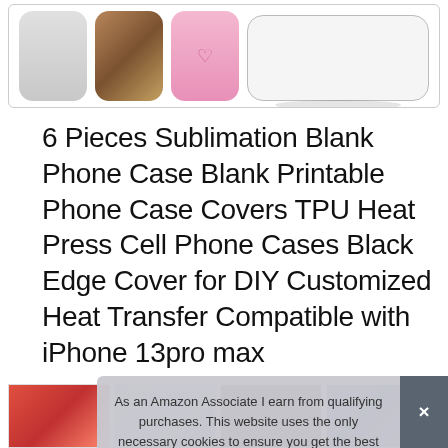[Figure (photo): Product image strip showing phone cases: a gray phone case, a phone case with photo/wood texture, a pink phone case with design, and a white/clear phone case with shadow reflection]
6 Pieces Sublimation Blank Phone Case Blank Printable Phone Case Covers TPU Heat Press Cell Phone Cases Black Edge Cover for DIY Customized Heat Transfer Compatible with iPhone 13pro max
#ad
[Figure (photo): Bottom row of phone case product thumbnail images]
As an Amazon Associate I earn from qualifying purchases. This website uses the only necessary cookies to ensure you get the best experience on our website. More information